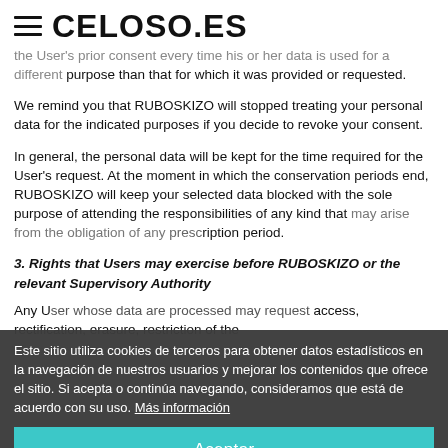CELOSO.ES
the User's prior consent every time his or her data is used for a different purpose than that for which it was provided or requested.
We remind you that RUBOSKIZO will stopped treating your personal data for the indicated purposes if you decide to revoke your consent.
In general, the personal data will be kept for the time required for the User's request. At the moment in which the conservation periods end, RUBOSKIZO will keep your selected data blocked with the sole purpose of attending the responsibilities of any kind that may arise from the obligation of any prescription period.
3. Rights that Users may exercise before RUBOSKIZO or the relevant Supervisory Authority
Any User whose data are processed may request access, rectification, erasure, restriction of the
Este sitio utiliza cookies de terceros para obtener datos estadísticos en la navegación de nuestros usuarios y mejorar los contenidos que ofrece el sitio. Si acepta o continúa navegando, consideramos que está de acuerdo con su uso. Más información
Aceptar